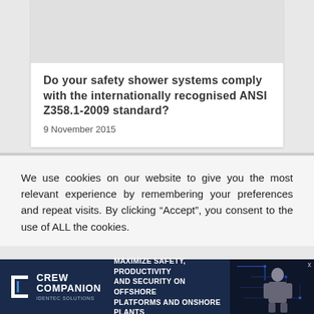[Figure (photo): Gray placeholder image area at top of article card]
Do your safety shower systems comply with the internationally recognised ANSI Z358.1-2009 standard?
9 November 2015
We use cookies on our website to give you the most relevant experience by remembering your preferences and repeat visits. By clicking “Accept”, you consent to the use of ALL the cookies.
[Figure (advertisement): Crew Companion by Identec Solutions ad banner: MAXIMIZE SAFETY, PRODUCTIVITY AND SECURITY ON OFFSHORE PLATFORMS AND ONSHORE PLANTS, with dark navy background and image of person in safety gear]